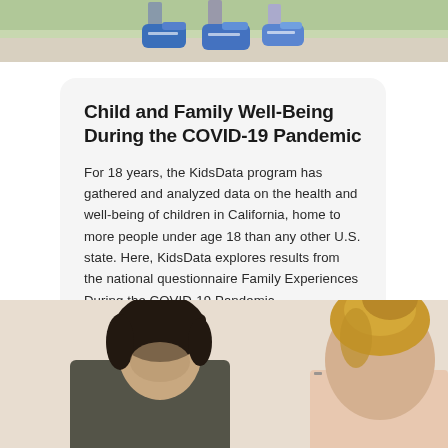[Figure (photo): Top portion of photo showing children's feet/shoes walking on a path, with green background]
Child and Family Well-Being During the COVID-19 Pandemic
For 18 years, the KidsData program has gathered and analyzed data on the health and well-being of children in California, home to more people under age 18 than any other U.S. state. Here, KidsData explores results from the national questionnaire Family Experiences During the COVID-19 Pandemic.
[Figure (photo): Bottom photo showing two people, one with dark hair looking down and one with blonde updo hair and glasses, appearing to be in a consultation or meeting setting]